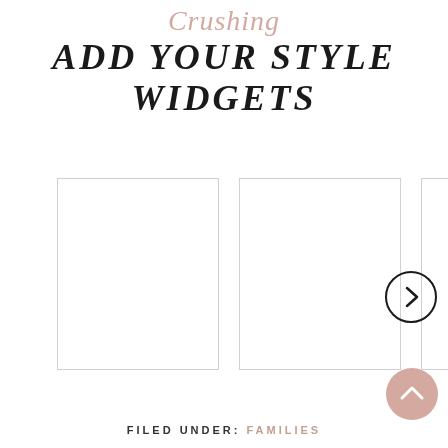Crushing ADD YOUR STYLE WIDGETS
[Figure (other): Three blank white widget placeholder boxes arranged in a horizontal row, partially visible, with a right-arrow circle navigation button overlaid on the right side]
[Figure (other): Circular pink scroll-to-top button with an upward chevron arrow, positioned bottom right]
FILED UNDER: FAMILIES